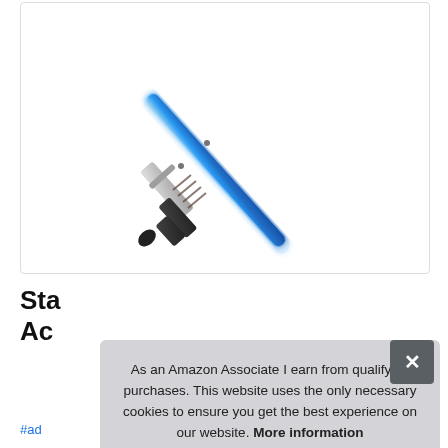[Figure (photo): A blue lightsaber (Star Wars replica/toy) shown diagonally against a white background, with a silver and black handle at the bottom-left and a glowing blue blade extending to the upper-right.]
St... W... R...... T...... F...
Ac...
#ad
As an Amazon Associate I earn from qualifying purchases. This website uses the only necessary cookies to ensure you get the best experience on our website. More information